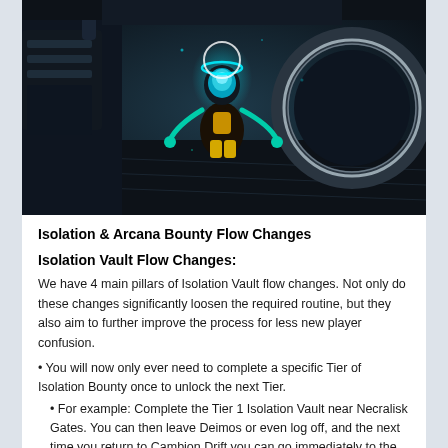[Figure (screenshot): A game screenshot showing a futuristic sci-fi character/robot with glowing cyan/teal elements floating in a dark mechanical environment with circular structures]
Isolation & Arcana Bounty Flow Changes
Isolation Vault Flow Changes:
We have 4 main pillars of Isolation Vault flow changes. Not only do these changes significantly loosen the required routine, but they also aim to further improve the process for less new player confusion.
• You will now only ever need to complete a specific Tier of Isolation Bounty once to unlock the next Tier.
• For example: Complete the Tier 1 Isolation Vault near Necralisk Gates. You can then leave Deimos or even log off, and the next time you return to Cambion Drift you can go immediately to the Tier